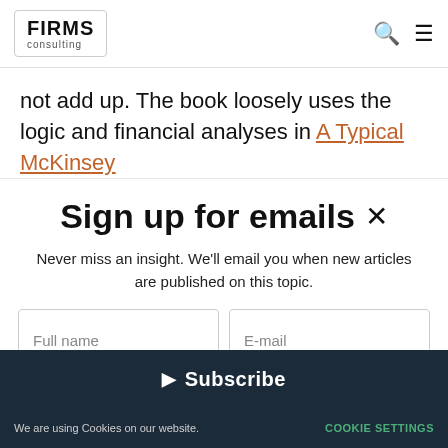FIRMS consulting
not add up. The book loosely uses the logic and financial analyses in A Typical McKinsey
Sign up for emails
Never miss an insight. We'll email you when new articles are published on this topic.
Full name | E-mail
Subscribe
We are using Cookies on our website. COOKIE SETTINGS